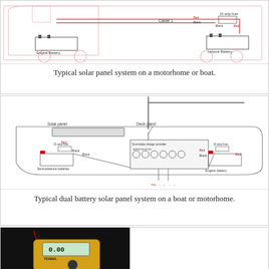[Figure (engineering-diagram): Wiring diagram of a typical solar panel system on a motorhome. Shows a van outline with engine battery on left, leisure battery on right, connected by Cable 1 with red and black wires, a 10 amp fuse, and labeled terminals.]
Typical solar panel system on a motorhome or boat.
[Figure (engineering-diagram): Wiring diagram of a typical dual battery solar panel system on a boat. Shows boat outline with solar panel on deck, deck gland, Sunnyside charge controller in center with terminals labeled A, B, B2, B2, B1, B1, service/leisure batteries on lower left, engine battery on lower right, 15 amp fuses, red and black wired connections.]
Typical dual battery solar panel system on a boat or motorhome.
[Figure (photo): Photo of a yellow TENMA multimeter with red and black probe leads, photographed against a dark background.]